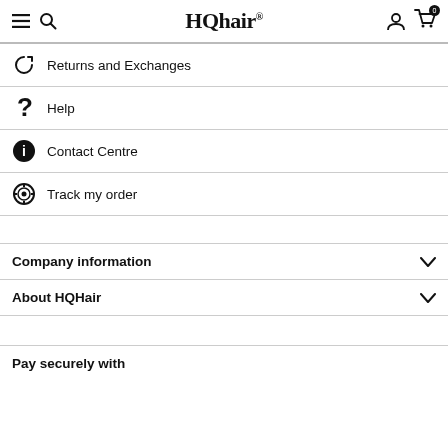HQhair
Returns and Exchanges
Help
Contact Centre
Track my order
Company information
About HQHair
Pay securely with